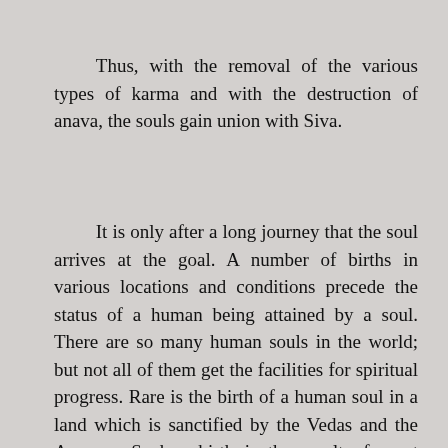Thus, with the removal of the various types of karma and with the destruction of anava, the souls gain union with Siva.
It is only after a long journey that the soul arrives at the goal. A number of births in various locations and conditions precede the status of a human being attained by a soul. There are so many human souls in the world; but not all of them get the facilities for spiritual progress. Rare is the birth of a human soul in a land which is sanctified by the Vedas and the Agamas. Such a birth is the result of great merit. A greater fund of merit is necessary for a soul to be born as an adherent of Saiva-Siddhanta. After wading through alien faiths, after plodding through the orthodox cults, the soul at last